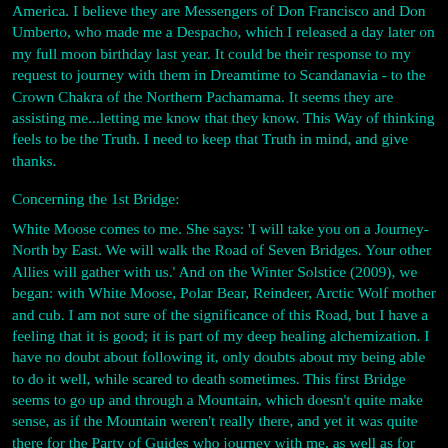America. I believe they are Messengers of Don Francisco and Don Umberto, who made me a Despacho, which I released a day later on my full moon birthday last year. It could be their response to my request to journey with them in Dreamtime to Scandanavia - to the Crown Chakra of the Northern Pachamama. It seems they are assisting me...letting me know that they know. This Way of thinking feels to be the Truth. I need to keep that Truth in mind, and give thanks.
Concerning the 1st Bridge:
White Moose comes to me. She says: 'I will take you on a Journey-North by East. We will walk the Road of Seven Bridges. Your other Allies will gather with us.' And on the Winter Solstice (2009), we began: with White Moose, Polar Bear, Reindeer, Arctic Wolf mother and cub. I am not sure of the significance of this Road, but I have a feeling that it is good; it is part of my deep healing alchemization. I have no doubt about following it, only doubts about my being able to do it well, while scared to death sometimes. This first Bridge seems to go up and through a Mountain, which doesn't quite make sense, as if the Mountain weren't really there, and yet it was quite there for the Party of Guides who journey with me, as well as for myself. Curiously, the flying Reindeer had to walk the Bridge, as well, and so the Guides carried all the bundles of stuff, and we went through and up or something. I only know we had crossed the Bridge, after